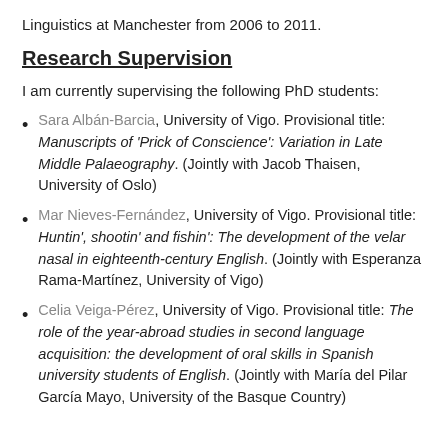Linguistics at Manchester from 2006 to 2011.
Research Supervision
I am currently supervising the following PhD students:
Sara Albán-Barcia, University of Vigo. Provisional title: Manuscripts of 'Prick of Conscience': Variation in Late Middle Palaeography. (Jointly with Jacob Thaisen, University of Oslo)
Mar Nieves-Fernández, University of Vigo. Provisional title: Huntin', shootin' and fishin': The development of the velar nasal in eighteenth-century English. (Jointly with Esperanza Rama-Martínez, University of Vigo)
Celia Veiga-Pérez, University of Vigo. Provisional title: The role of the year-abroad studies in second language acquisition: the development of oral skills in Spanish university students of English. (Jointly with María del Pilar García Mayo, University of the Basque Country)